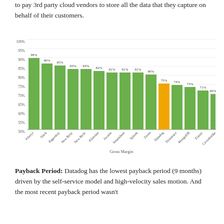to pay 3rd party cloud vendors to store all the data that they capture on behalf of their customers.
[Figure (bar-chart): Gross Margin]
Payback Period: Datadog has the lowest payback period (9 months) driven by the self-service model and high-velocity sales motion. And the most recent payback period wasn't